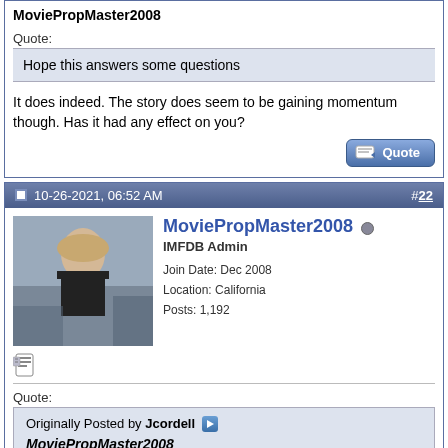MoviePropMaster2008
Quote:
Hope this answers some questions
It does indeed. The story does seem to be gaining momentum though. Has it had any effect on you?
10-26-2021, 06:52 AM
#22
[Figure (photo): Avatar photo of MoviePropMaster2008, a woman in dark clothing outdoors]
MoviePropMaster2008 IMFDB Admin Join Date: Dec 2008 Location: California Posts: 1,192
Quote: Originally Posted by Jcordell MoviePropMaster2008 It does indeed. The story does seem to be gaining momentum though. Has it had any effect on you?